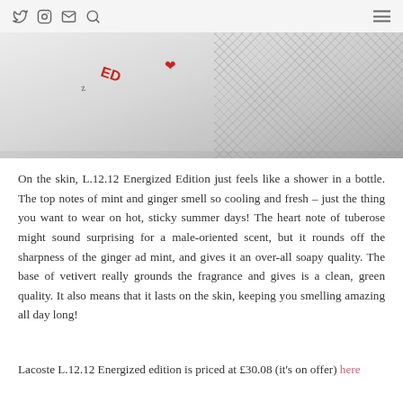Twitter Instagram Mail Search [hamburger menu]
[Figure (photo): Close-up product shot of Lacoste L.12.12 Energized Edition bottle/packaging showing partial text 'z', 'ED' in red, a heart symbol, and mesh/net texture background in light grey tones]
On the skin, L.12.12 Energized Edition just feels like a shower in a bottle. The top notes of mint and ginger smell so cooling and fresh – just the thing you want to wear on hot, sticky summer days! The heart note of tuberose might sound surprising for a male-oriented scent, but it rounds off the sharpness of the ginger ad mint, and gives it an over-all soapy quality. The base of vetivert really grounds the fragrance and gives is a clean, green quality. It also means that it lasts on the skin, keeping you smelling amazing all day long!
Lacoste L.12.12 Energized edition is priced at £30.08 (it's on offer) here